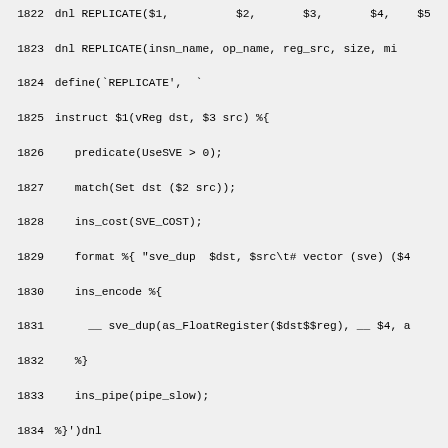Code listing lines 1822-1851 showing REPLICATE and REPLICATE_IMM8 and FREPLICATE macro definitions in assembly/macro language